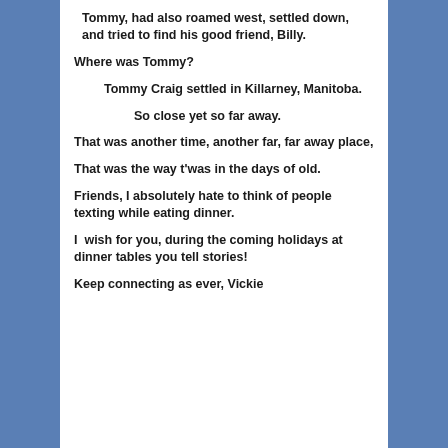Tommy, had also roamed west, settled down, and tried to find his good friend, Billy.
Where was Tommy?
Tommy Craig settled in Killarney, Manitoba.
So close yet so far away.
That was another time, another far, far away place,
That was the way t'was in the days of old.
Friends, I absolutely hate to think of people texting while eating dinner.
I  wish for you, during the coming holidays at dinner tables you tell stories!
Keep connecting as ever, Vickie